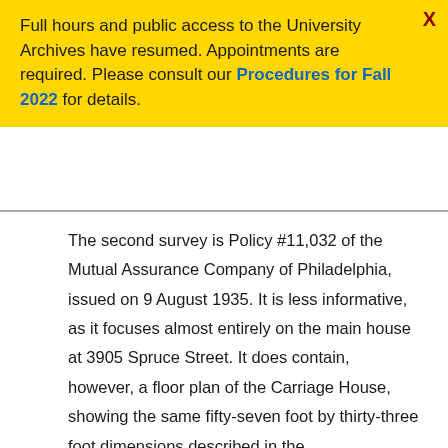Full hours and public access to the University Archives have resumed. Appointments are required. Please consult our Procedures for Fall 2022 for details.
The second survey is Policy #11,032 of the Mutual Assurance Company of Philadelphia, issued on 9 August 1935. It is less informative, as it focuses almost entirely on the main house at 3905 Spruce Street. It does contain, however, a floor plan of the Carriage House, showing the same fifty-seven foot by thirty-three foot dimensions described in the Contributionship policy. The Mutual Assurance Company policy was cancelled on 27 July 1960, shortly after International House moved to Center City and the University purchased the Spruce Street property.